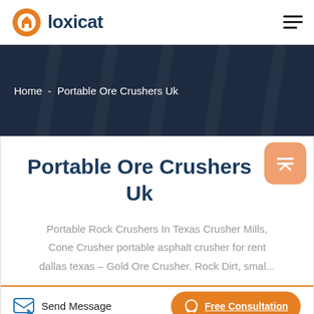loxicat
Home  -  Portable Ore Crushers Uk
Portable Ore Crushers Uk
Portable Rock Crushers In Texas Crusher Mills, Cone Crusher portable asphalt crusher for rent dallas texas – Gold Ore Crusher. Rock Dirt, smal...
Send Message
Free Consultation